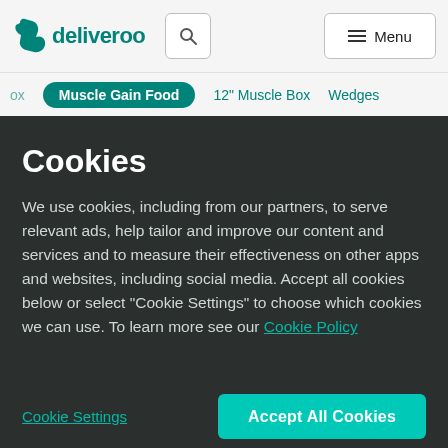[Figure (screenshot): Deliveroo website header with logo, search button, and menu button on a light grey background]
ox   Muscle Gain Food   12" Muscle Box   Wedges
Cookies
We use cookies, including from our partners, to serve relevant ads, help tailor and improve our content and services and to measure their effectiveness on other apps and websites, including social media. Accept all cookies below or select “Cookie Settings” to choose which cookies we can use. To learn more see our Cookie Policy
Cookie Settings
Accept All Cookies